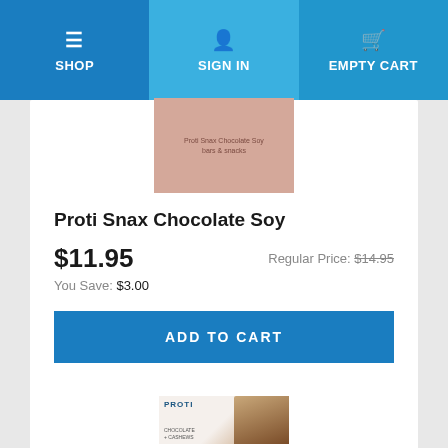SHOP | SIGN IN | EMPTY CART
[Figure (photo): Product image placeholder - pink/salmon colored box for Proti Snax Chocolate Soy]
Proti Snax Chocolate Soy
$11.95
Regular Price: $14.95
You Save: $3.00
ADD TO CART
[Figure (photo): Second product image - Proti Chocolate Cashews product box with chocolate imagery]